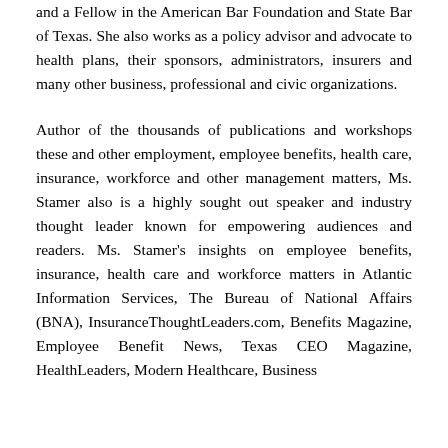and a Fellow in the American Bar Foundation and State Bar of Texas. She also works as a policy advisor and advocate to health plans, their sponsors, administrators, insurers and many other business, professional and civic organizations.
Author of the thousands of publications and workshops these and other employment, employee benefits, health care, insurance, workforce and other management matters, Ms. Stamer also is a highly sought out speaker and industry thought leader known for empowering audiences and readers. Ms. Stamer's insights on employee benefits, insurance, health care and workforce matters in Atlantic Information Services, The Bureau of National Affairs (BNA), InsuranceThoughtLeaders.com, Benefits Magazine, Employee Benefit News, Texas CEO Magazine, HealthLeaders, Modern Healthcare, Business